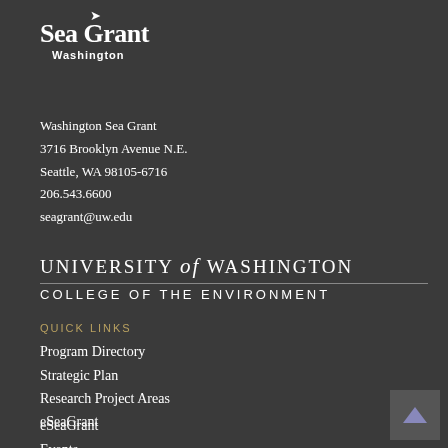[Figure (logo): Washington Sea Grant logo with stylized wave/swoosh above 'Sea Grant' text and 'Washington' subtitle]
Washington Sea Grant
3716 Brooklyn Avenue N.E.
Seattle, WA 98105-6716
206.543.6600
seagrant@uw.edu
[Figure (logo): University of Washington College of the Environment wordmark — 'UNIVERSITY of WASHINGTON' with horizontal rule, then 'COLLEGE OF THE ENVIRONMENT']
QUICK LINKS
Program Directory
Strategic Plan
Research Project Areas
eSeaGrant
Events
WSG Email Newsletters